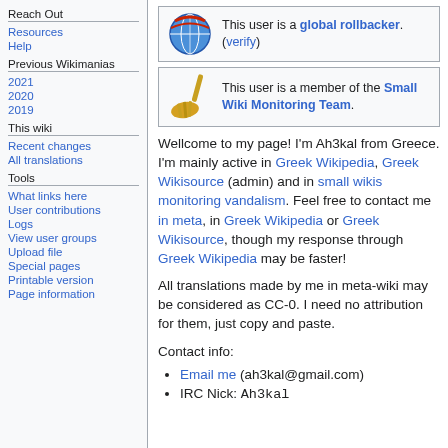Reach Out
Resources
Help
Previous Wikimanias
2021
2020
2019
This wiki
Recent changes
All translations
Tools
What links here
User contributions
Logs
View user groups
Upload file
Special pages
Printable version
Page information
[Figure (infographic): Userbox: This user is a global rollbacker. (verify)]
[Figure (infographic): Userbox: This user is a member of the Small Wiki Monitoring Team.]
Wellcome to my page! I'm Ah3kal from Greece. I'm mainly active in Greek Wikipedia, Greek Wikisource (admin) and in small wikis monitoring vandalism. Feel free to contact me in meta, in Greek Wikipedia or Greek Wikisource, though my response through Greek Wikipedia may be faster!
All translations made by me in meta-wiki may be considered as CC-0. I need no attribution for them, just copy and paste.
Contact info:
Email me (ah3kal@gmail.com)
IRC Nick: Ah3kal